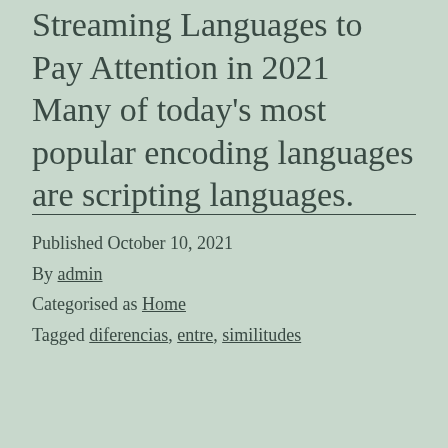Streaming Languages to Pay Attention in 2021 Many of today's most popular encoding languages are scripting languages.
Published October 10, 2021
By admin
Categorised as Home
Tagged diferencias, entre, similitudes